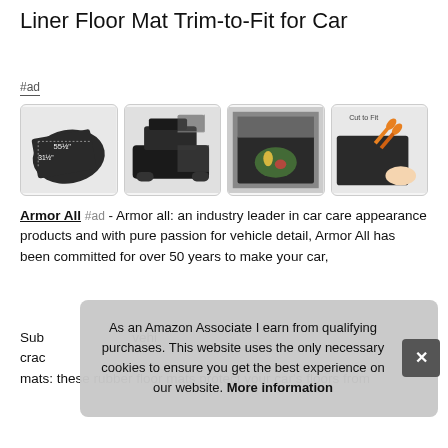Liner Floor Mat Trim-to-Fit for Car
#ad
[Figure (photo): Four product images: floor mat with dimensions 55½" x 31½", SUV with open trunk, car trunk interior with mat installed, mat being cut with scissors labeled 'Cut to Fit']
Armor All #ad - Armor all: an industry leader in car care appearance products and with pure passion for vehicle detail, Armor All has been committed for over 50 years to make your car,
Sub... vehi... crac... mats: these rubber floor mats protect your car's floors from
As an Amazon Associate I earn from qualifying purchases. This website uses the only necessary cookies to ensure you get the best experience on our website. More information